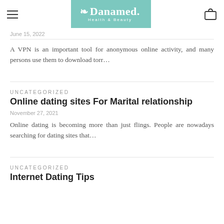Danamed. Health & Beauty
June 15, 2022
A VPN is an important tool for anonymous online activity, and many persons use them to download torr…
UNCATEGORIZED
Online dating sites For Marital relationship
November 27, 2021
Online dating is becoming more than just flings. People are nowadays searching for dating sites that…
UNCATEGORIZED
Internet Dating Tips